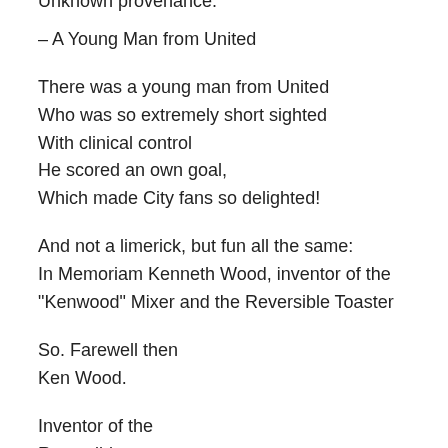Unknown provenance.
– A Young Man from United
There was a young man from United
Who was so extremely short sighted
With clinical control
He scored an own goal,
Which made City fans so delighted!
And not a limerick, but fun all the same:
In Memoriam Kenneth Wood, inventor of the
"Kenwood" Mixer and the Reversible Toaster
So. Farewell then
Ken Wood.
Inventor of the
Reversible